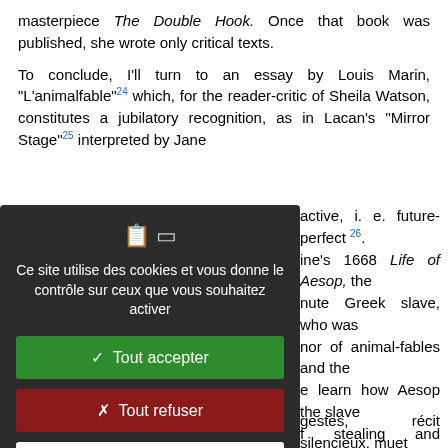masterpiece The Double Hook. Once that book was published, she wrote only critical texts.
To conclude, I'll turn to an essay by Louis Marin, "L'animalfable" 24 which, for the reader-critic of Sheila Watson, constitutes a jubilatory recognition, as in Lacan's "Mirror Stage" 25 interpreted by Jane [...]active, i. e. future-perfect 26. [...]ine's 1668 Life of Aesop, the [...] nute Greek slave, who was [...] nor of animal-fables and the [...] e learn how Aesop the slave [...] f stealing and devouring his [...] d, he uses body-language, [...] guilty accusers to retch up [...] we may read AFA:
[Figure (screenshot): Cookie consent modal dialog with dark background. Contains icons, text in French: 'Ce site utilise des cookies et vous donne le contrôle sur ceux que vous souhaitez activer', buttons: 'Tout accepter' (green), 'Tout refuser' (red), 'Personnaliser' (white), and 'Politique de confidentialité' link.]
gestes, récit silencieux, muet n'y est point une voix, mais un de la fable est un corps aussi, en sus. Ici, l'homme (dévorant-dévoré) qui ne parle ent, au titre de la morale de s auxquels est donnée une